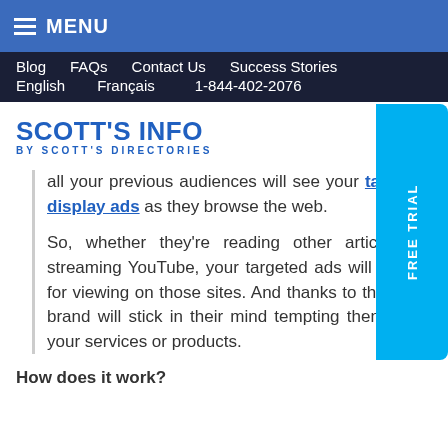MENU
Blog  FAQs  Contact Us  Success Stories
English  Français  1-844-402-2076
[Figure (logo): Scott's Info by Scott's Directories logo in blue]
all your previous audiences will see your targeted display ads as they browse the web.
So, whether they're reading other articles, or streaming YouTube, your targeted ads will pop up for viewing on those sites. And thanks to this, your brand will stick in their mind tempting them to try your services or products.
How does it work?